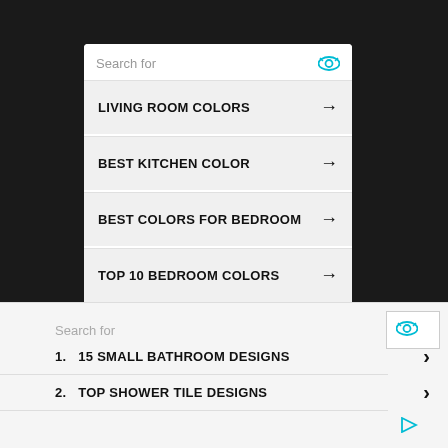Search for
LIVING ROOM COLORS
BEST KITCHEN COLOR
BEST COLORS FOR BEDROOM
TOP 10 BEDROOM COLORS
BEST BATHROOM COLOR
Search for
1.  15 SMALL BATHROOM DESIGNS
2.  TOP SHOWER TILE DESIGNS